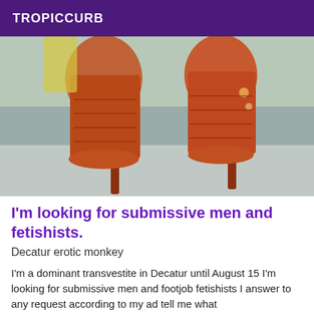TROPICCURB
[Figure (photo): Close-up photograph of two feet wearing red/orange strappy high-heel stiletto boots on a grey floor, with a blurred outdoor background.]
I'm looking for submissive men and fetishists.
Decatur erotic monkey
I'm a dominant transvestite in Decatur until August 15 I'm looking for submissive men and footjob fetishists I answer to any request according to my ad tell me what